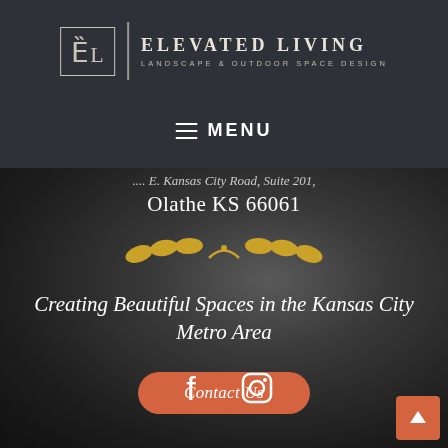[Figure (logo): Elevated Living logo with stylized EL monogram in a box, vertical divider, and company name 'ELEVATED LIVING LANDSCAPE & OUTDOOR SPACE DESIGN' on dark background]
≡  MENU
Olathe KS 66061
[Figure (illustration): Gold ornamental laurel/wheat branch divider]
Creating Beautiful Spaces in the Kansas City Metro Area
Contact Us
[Figure (illustration): Facebook and Instagram social media icons in white]
[Figure (illustration): Orange back-to-top arrow button in bottom right corner]